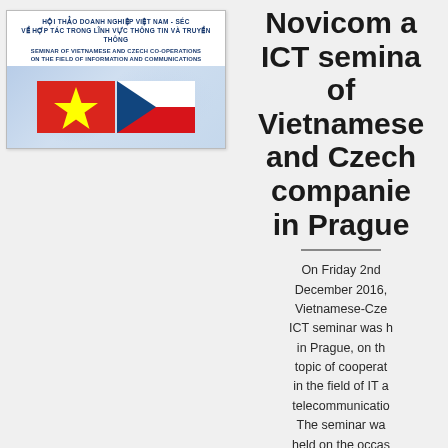[Figure (photo): Banner image for a Vietnamese-Czech ICT seminar. Top section shows bilingual text: 'HỘI THẢO DOANH NGHIỆP VIỆT NAM - SÉC VỀ HỢP TÁC TRONG LĨNH VỰC THÔNG TIN VÀ TRUYỀN THÔNG' and 'SEMINAR OF VIETNAMESE AND CZECH CO-OPERATIONS ON THE FIELD OF INFORMATION AND COMMUNICATIONS'. Below is a graphic with Vietnamese and Czech national flags side by side against a light blue map background.]
Novicom at ICT seminar of Vietnamese and Czech companies in Prague
On Friday 2nd December 2016, Vietnamese-Czech ICT seminar was held in Prague, on the topic of cooperation in the field of IT and telecommunications. The seminar was held on the occasion of a working visit of the Vietnamese Minister of IT, Mr Truong Minh Tu